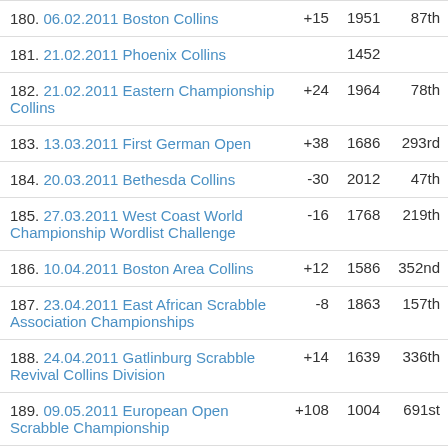| # | Event | Change | Rating | Rank |
| --- | --- | --- | --- | --- |
| 180. | 06.02.2011 Boston Collins | +15 | 1951 | 87th |
| 181. | 21.02.2011 Phoenix Collins |  | 1452 |  |
| 182. | 21.02.2011 Eastern Championship Collins | +24 | 1964 | 78th |
| 183. | 13.03.2011 First German Open | +38 | 1686 | 293rd |
| 184. | 20.03.2011 Bethesda Collins | -30 | 2012 | 47th |
| 185. | 27.03.2011 West Coast World Championship Wordlist Challenge | -16 | 1768 | 219th |
| 186. | 10.04.2011 Boston Area Collins | +12 | 1586 | 352nd |
| 187. | 23.04.2011 East African Scrabble Association Championships | -8 | 1863 | 157th |
| 188. | 24.04.2011 Gatlinburg Scrabble Revival Collins Division | +14 | 1639 | 336th |
| 189. | 09.05.2011 European Open Scrabble Championship | +108 | 1004 | 691st |